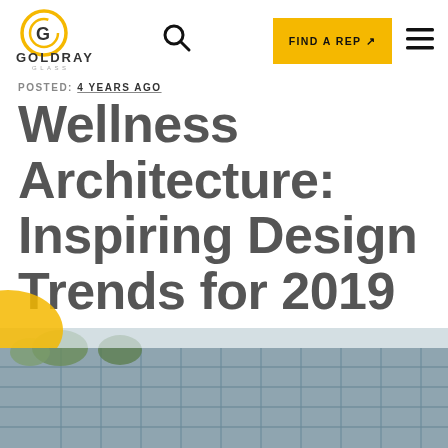[Figure (logo): Goldray Glass logo — circular G icon in gold/yellow with concentric ring, company name GOLDRAY in bold and GLASS in small caps below]
FIND A REP ↗
POSTED: 4 YEARS AGO
Wellness Architecture: Inspiring Design Trends for 2019
[Figure (photo): Exterior photo of a modern glass-facade commercial building, with trees visible in front, taken in daylight]